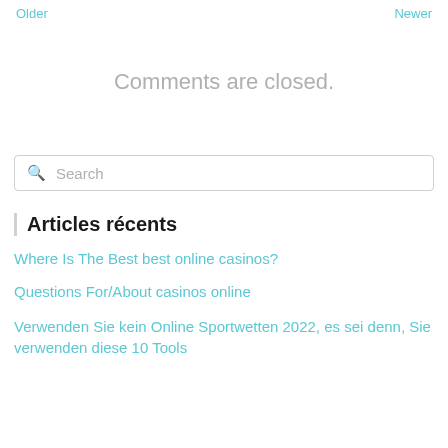Older | Newer
Comments are closed.
Search
Articles récents
Where Is The Best best online casinos?
Questions For/About casinos online
Verwenden Sie kein Online Sportwetten 2022, es sei denn, Sie verwenden diese 10 Tools